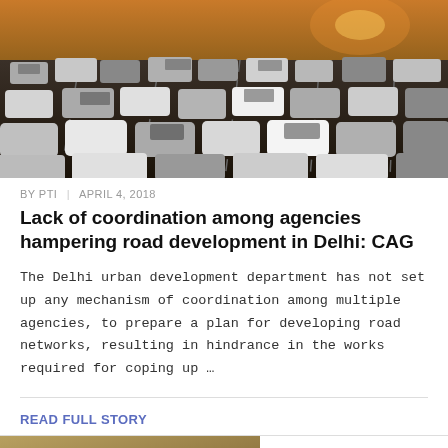[Figure (photo): Aerial view of heavy traffic on a multi-lane highway with many cars, shot from above at sunset/dusk.]
BY PTI | APRIL 4, 2018
Lack of coordination among agencies hampering road development in Delhi: CAG
The Delhi urban development department has not set up any mechanism of coordination among multiple agencies, to prepare a plan for developing road networks, resulting in hindrance in the works required for coping up …
READ FULL STORY
[Figure (photo): Bottom partial image showing a road scene with a 'Current News' label overlay.]